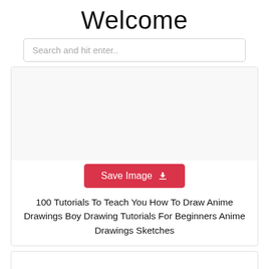Welcome
Search and hit enter..
[Figure (screenshot): Empty white image area inside a card]
Save Image
100 Tutorials To Teach You How To Draw Anime Drawings Boy Drawing Tutorials For Beginners Anime Drawings Sketches
[Figure (screenshot): Second card with empty white image area, partially visible]